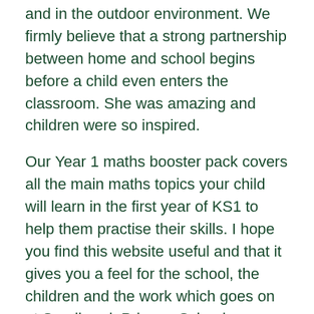and in the outdoor environment. We firmly believe that a strong partnership between home and school begins before a child even enters the classroom. She was amazing and children were so inspired.
Our Year 1 maths booster pack covers all the main maths topics your child will learn in the first year of KS1 to help them practise their skills. I hope you find this website useful and that it gives you a feel for the school, the children and the work which goes on at Sandbrook Primary School.
We offer opportunities for the children to develop their football and other sports skills, play a variety of musical instruments or demonstrate their creativity through a range of new clubs and visits.
Year 2 English Booster pack Our Year 2 English Booster